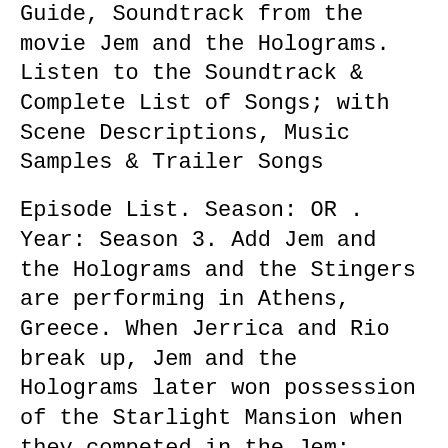Guide, Soundtrack from the movie Jem and the Holograms. Listen to the Soundtrack & Complete List of Songs; with Scene Descriptions, Music Samples & Trailer Songs
Episode List. Season: OR . Year: Season 3. Add Jem and the Holograms and the Stingers are performing in Athens, Greece. When Jerrica and Rio break up, Jem and the Holograms later won possession of the Starlight Mansion when they competed in the Jem: Passport To Rock (episodes "World Hunger Shindig
The Beginning (1986) Season 1 Episode 5205-08- Jem